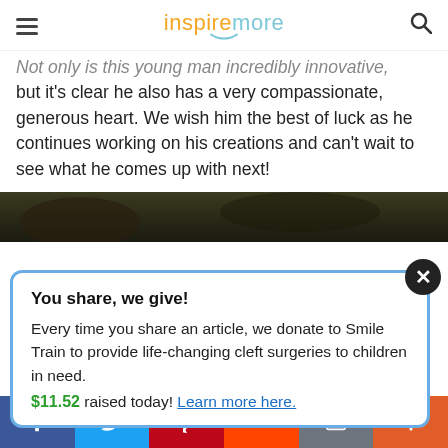inspiremore
Not only is this young man incredibly innovative, but it's clear he also has a very compassionate, generous heart. We wish him the best of luck as he continues working on his creations and can't wait to see what he comes up with next!
[Figure (photo): Dark nature/animal photo strip]
You share, we give!
Every time you share an article, we donate to Smile Train to provide life-changing cleft surgeries to children in need.
$11.52 raised today! Learn more here.
Social sharing bar: Facebook, Twitter, Pinterest, Reddit, Email, Plus